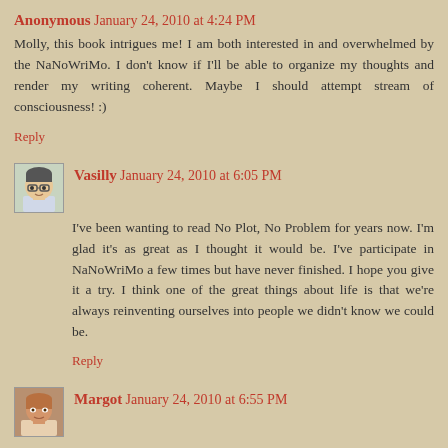Anonymous January 24, 2010 at 4:24 PM
Molly, this book intrigues me! I am both interested in and overwhelmed by the NaNoWriMo. I don't know if I'll be able to organize my thoughts and render my writing coherent. Maybe I should attempt stream of consciousness! :)
Reply
[Figure (illustration): Avatar of Vasilly - cartoon face with glasses]
Vasilly January 24, 2010 at 6:05 PM
I've been wanting to read No Plot, No Problem for years now. I'm glad it's as great as I thought it would be. I've participate in NaNoWriMo a few times but have never finished. I hope you give it a try. I think one of the great things about life is that we're always reinventing ourselves into people we didn't know we could be.
Reply
[Figure (photo): Avatar of Margot - photo of a person]
Margot January 24, 2010 at 6:55 PM